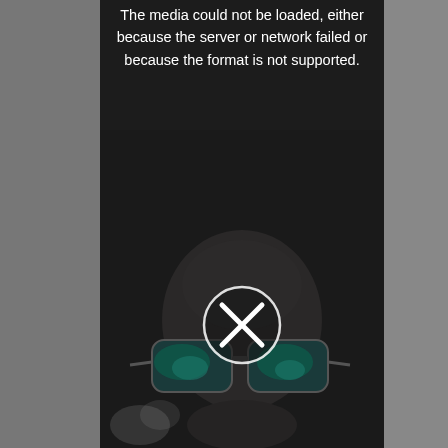The media could not be loaded, either because the server or network failed or because the format is not supported.
[Figure (photo): Dark photo of a person wearing blue-green reflective sunglasses, mostly dark background. A circular media-error overlay with an X is displayed in the center of the image.]